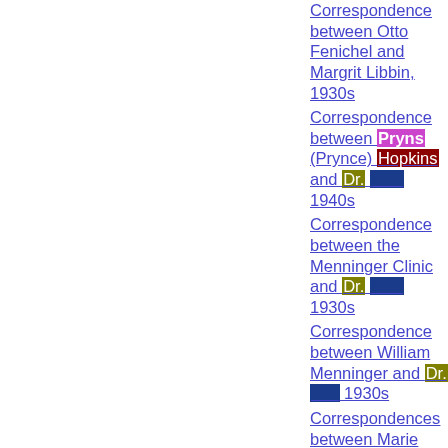Correspondence between Otto Fenichel and Margrit Libbin, 1930s
Correspondence between Pryns (Prynce) Hopkins and Dr. [redacted] 1940s
Correspondence between the Menninger Clinic and Dr. [redacted] 1930s
Correspondence between William Menninger and Dr. [redacted] 1930s
Correspondences between Marie Bonaparte and Dr. [redacted] 1930, 1940s
Documents from the NCP-LA Archive, Dr. Tidd